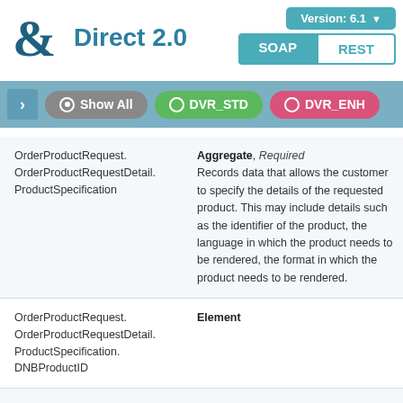Direct 2.0
Version: 6.1 | SOAP | REST
Show All | DVR_STD | DVR_ENH
| Path | Description |
| --- | --- |
| OrderProductRequest.OrderProductRequestDetail.ProductSpecification | Aggregate, Required
Records data that allows the customer to specify the details of the requested product. This may include details such as the identifier of the product, the language in which the product needs to be rendered, the format in which the product needs to be rendered. |
| OrderProductRequest.OrderProductRequestDetail.ProductSpecification.DNBProductID | Element |
| OrderProductRequest.OrderProductRequestDetail.ProductSpecification.LanguagePreferenceCode | integer, up to 7 digits, Optional
A D&B code value that defines the language in which the |